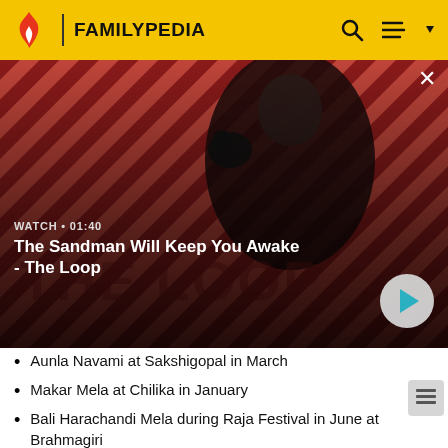FAMILYPEDIA
[Figure (screenshot): Video thumbnail showing a dark-cloaked figure with a raven on shoulder against a red and black diagonal striped background. Title reads 'The Sandman Will Keep You Awake - The Loop'. Watch duration label shows 'WATCH • 01:40'.]
Aunla Navami at Sakshigopal in March
Makar Mela at Chilika in January
Bali Harachandi Mela during Raja Festival in June at Brahmagiri
Anabasar Yatra Alaranath Pitha, Brahamagiri.